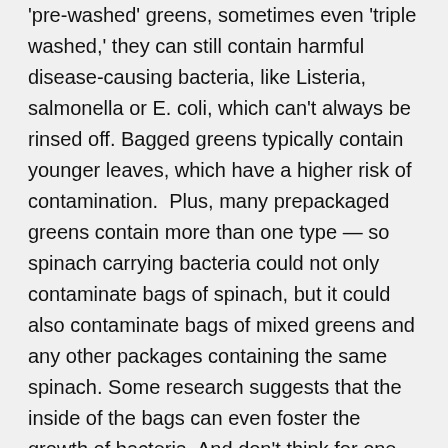'pre-washed' greens, sometimes even 'triple washed,' they can still contain harmful disease-causing bacteria, like Listeria, salmonella or E. coli, which can't always be rinsed off. Bagged greens typically contain younger leaves, which have a higher risk of contamination.  Plus, many prepackaged greens contain more than one type — so spinach carrying bacteria could not only contaminate bags of spinach, but it could also contaminate bags of mixed greens and any other packages containing the same spinach. Some research suggests that the inside of the bags can even foster the growth of bacteria. And don't think for one minute that organic greens are exempt — they are no more or less likely to carry harmful bacteria. So when it comes to bagged greens, the health risks are still low, but if you have the option of choosing prepackaged or fresh, go for the latter which is a safer bet. BTW, you should still wash off produce as thoroughly